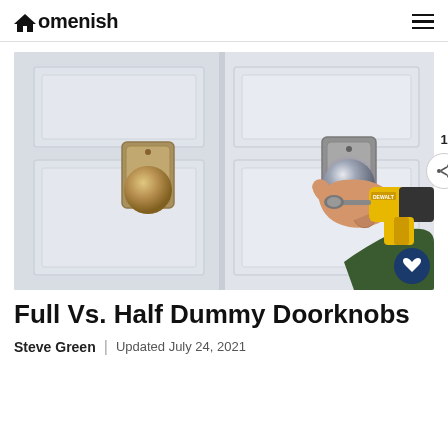Homenish
[Figure (photo): Two door knobs on a white door, one gold/brass and one silver, with a person's hand using a yellow power drill on the silver doorknob]
Full Vs. Half Dummy Doorknobs
Steve Green | Updated July 24, 2021